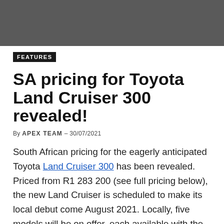[Figure (photo): Dark grey/charcoal header image banner at top of article page]
FEATURES
SA pricing for Toyota Land Cruiser 300 revealed!
By APEX TEAM - 30/07/2021
South African pricing for the eagerly anticipated Toyota Land Cruiser 300 has been revealed. Priced from R1 283 200 (see full pricing below), the new Land Cruiser is scheduled to make its local debut come August 2021. Locally, five models will be on offer, each available with the option of three trim grades and the choice of two engine options.